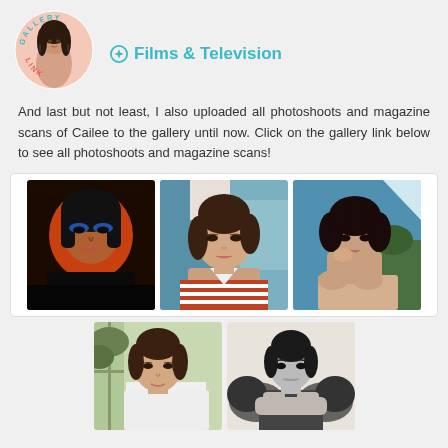[Figure (logo): Gallery Link circular logo with illustrated woman portrait and text 'GALLERY LINK' arranged in a circle around the edge]
Films & Television
And last but not least, I also uploaded all photoshoots and magazine scans of Cailee to the gallery until now. Click on the gallery link below to see all photoshoots and magazine scans!
[Figure (photo): Portrait of young woman with dramatic orange-red lighting, blue eye makeup, black turtleneck]
[Figure (photo): Portrait of young woman with short brown hair, natural makeup, striped top, blue abstract background]
[Figure (photo): Portrait of young woman with curly dark hair, sitting against blue diagonal background outdoors]
[Figure (photo): Portrait of young woman in white shirt near a window with green foliage outside]
[Figure (photo): Black and white portrait of young woman in puffy-sleeved dress, arms crossed, serious expression]